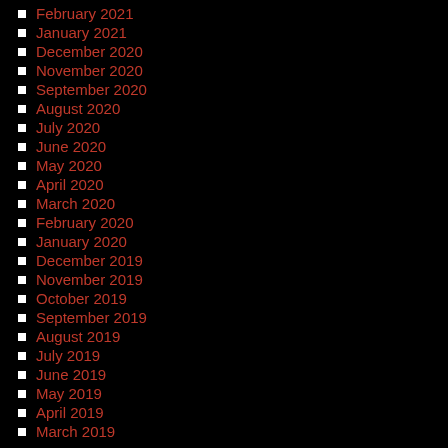February 2021
January 2021
December 2020
November 2020
September 2020
August 2020
July 2020
June 2020
May 2020
April 2020
March 2020
February 2020
January 2020
December 2019
November 2019
October 2019
September 2019
August 2019
July 2019
June 2019
May 2019
April 2019
March 2019